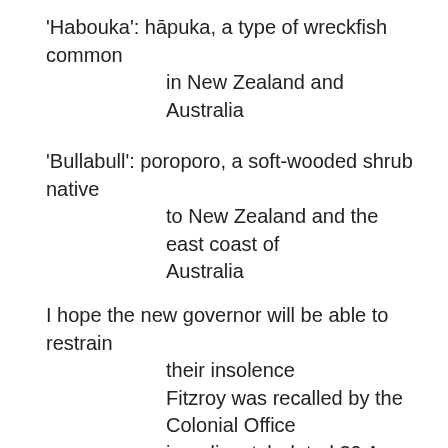'Habouka': hāpuka, a type of wreckfish common in New Zealand and Australia
'Bullabull': poroporo, a soft-wooded shrub native to New Zealand and the east coast of Australia
I hope the new governor will be able to restrain their insolence Fitzroy was recalled by the Colonial Office in a dispatch dated 30 Apr 1845 and received in Auckland 1 Oct that year. Captain George Grey (1812-1898) was Governor of South Australia 1840-45. He was appointed Governor of New Zealand and